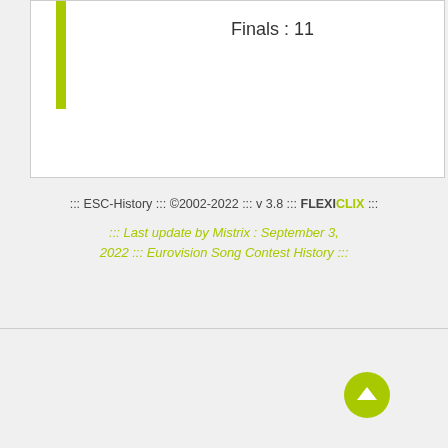[Figure (infographic): White card with a yellow-green vertical bar on the left and text 'Finals : 11' on the right]
Finals : 11
::: ESC-History ::: ©2002-2022 ::: v 3.8 ::: FLEXICLIX  :::
::: Last update by Mistrix : September 3, 2022 ::: Eurovision Song Contest History :::
[Figure (illustration): BEA Records advertisement banner with logo, website www.bearecords.com, tagline 'your online Eurovision Record Shop', and 'actual, quick, friendly prices, worldwide ship...']